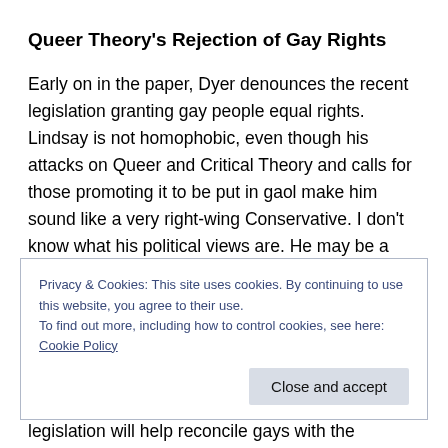Queer Theory's Rejection of Gay Rights
Early on in the paper, Dyer denounces the recent legislation granting gay people equal rights. Lindsay is not homophobic, even though his attacks on Queer and Critical Theory and calls for those promoting it to be put in gaol make him sound like a very right-wing Conservative. I don't know what his political views are. He may be a man of the right, but he makes it clear that all parents should come together to combat what is being taught in schools
Privacy & Cookies: This site uses cookies. By continuing to use this website, you agree to their use.
To find out more, including how to control cookies, see here: Cookie Policy
[Close and accept button]
legislation will help reconcile gays with the capitalist